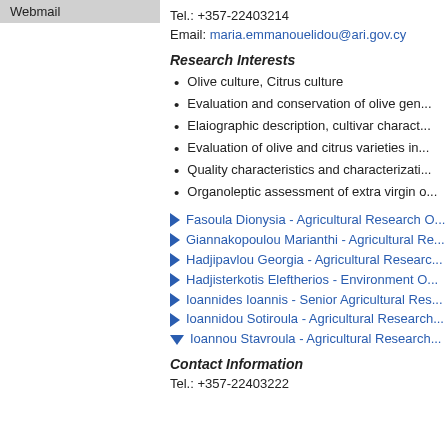Webmail
Tel.: +357-22403214
Email: maria.emmanouelidou@ari.gov.cy
Research Interests
Olive culture, Citrus culture
Evaluation and conservation of olive gen...
Elaiographic description, cultivar charact...
Evaluation of olive and citrus varieties in...
Quality characteristics and characterizati...
Organoleptic assessment of extra virgin o...
Fasoula Dionysia - Agricultural Research O...
Giannakopoulou Marianthi - Agricultural Re...
Hadjipavlou Georgia - Agricultural Researc...
Hadjisterkotis Eleftherios - Environment O...
Ioannides Ioannis - Senior Agricultural Res...
Ioannidou Sotiroula - Agricultural Research...
Ioannou Stavroula - Agricultural Research...
Contact Information
Tel.: +357-22403222